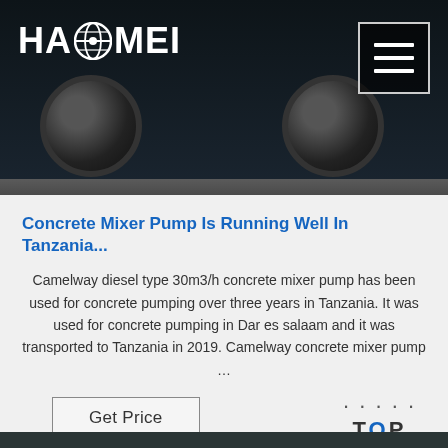[Figure (photo): Dark header with HAOMEI logo on the left, hamburger menu button on the right, and a concrete mixer truck visible in the background]
Concrete Mixer Pump Is Running Well In Tanzania...
Camelway diesel type 30m3/h concrete mixer pump has been used for concrete pumping over three years in Tanzania. It was used for concrete pumping in Dar es salaam and it was transported to Tanzania in 2019. Camelway concrete mixer pump …
Get Price
[Figure (screenshot): Bottom strip showing another truck image partially visible]